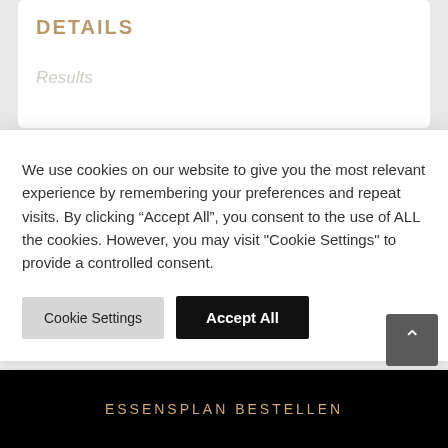DETAILS
Results
We use cookies on our website to give you the most relevant experience by remembering your preferences and repeat visits. By clicking “Accept All”, you consent to the use of ALL the cookies. However, you may visit "Cookie Settings" to provide a controlled consent.
Cookie Settings | Accept All
https://eatbyalex.com/product/a-life-program/
ESSENSPLAN BESTELLEN